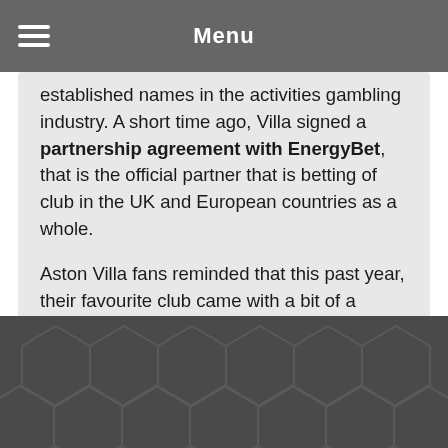Menu
established names in the activities gambling industry. A short time ago, Villa signed a partnership agreement with EnergyBet, that is the official partner that is betting of club in the UK and European countries as a whole.
Aston Villa fans reminded that this past year, their favourite club came with a bit of a uncommon decision and https 5 reel vs 5 reel slots://freeslotsnodownload-ca.com/3-reel-slots/ called both bet365 and Betfair as their co-betting partners. The Villains also partnered with William Hill and Dafabet in past seasons.